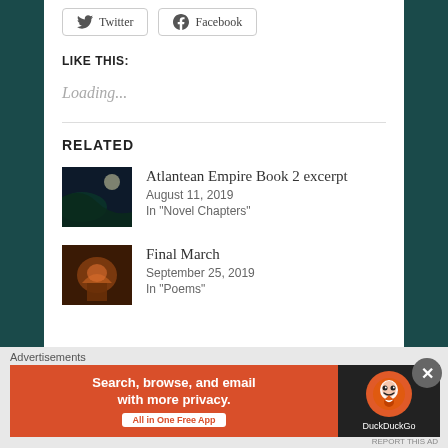Twitter  Facebook
LIKE THIS:
Loading...
RELATED
Atlantean Empire Book 2 excerpt
August 11, 2019
In "Novel Chapters"
Final March
September 25, 2019
In "Poems"
Advertisements
[Figure (screenshot): DuckDuckGo advertisement banner: orange left panel with text 'Search, browse, and email with more privacy. All in One Free App' and dark right panel with DuckDuckGo logo]